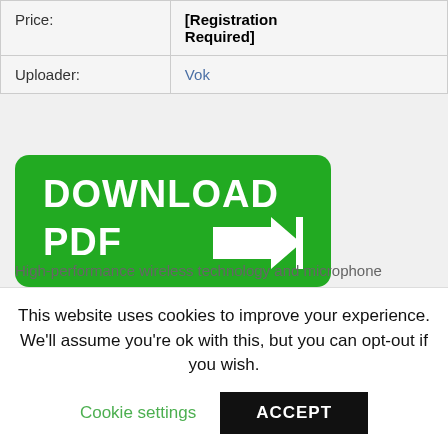| Price: | [Registration Required] |
| --- | --- |
| Uploader: | Vok |
[Figure (other): Green download PDF button with arrow pointing right]
High-performance wireless technology and microphone technology. Staining is first seen at about 6 hrs in a wheat of
This website uses cookies to improve your experience. We'll assume you're ok with this, but you can opt-out if you wish.
Cookie settings   ACCEPT